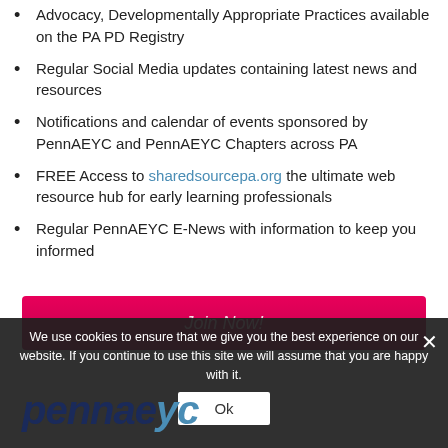Advocacy, Developmentally Appropriate Practices available on the PA PD Registry
Regular Social Media updates containing latest news and resources
Notifications and calendar of events sponsored by PennAEYC and PennAEYC Chapters across PA
FREE Access to sharedsourcepa.org the ultimate web resource hub for early learning professionals
Regular PennAEYC E-News with information to keep you informed
[Figure (other): Pink/magenta 'Join Now!' button bar]
We use cookies to ensure that we give you the best experience on our website. If you continue to use this site we will assume that you are happy with it.
[Figure (logo): PennAEYC logo text in dark navy blue italic bold font]